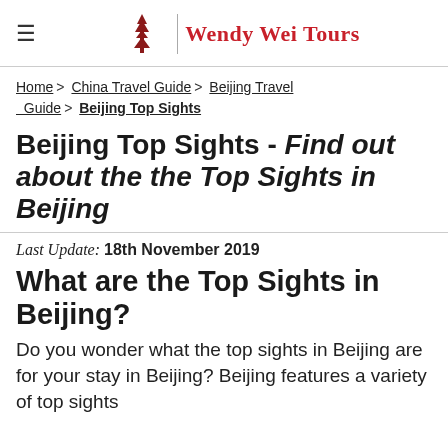≡  WW | Wendy Wei Tours
Home > China Travel Guide > Beijing Travel Guide > Beijing Top Sights
Beijing Top Sights - Find out about the the Top Sights in Beijing
Last Update: 18th November 2019
What are the Top Sights in Beijing?
Do you wonder what the top sights in Beijing are for your stay in Beijing? Beijing features a variety of top sights